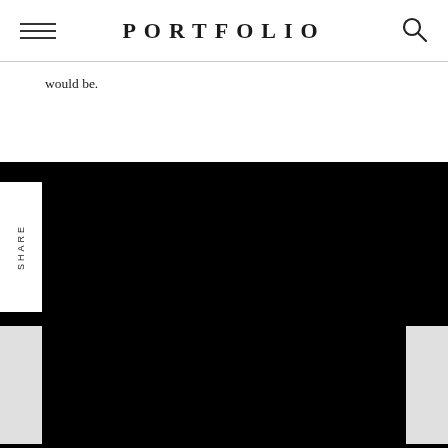PORTFOLIO
would be.
[Figure (screenshot): Black background section with a white SHARE tab on the left side (rotated vertical text), left and right navigation tabs (light grey boxes) at the bottom portion.]